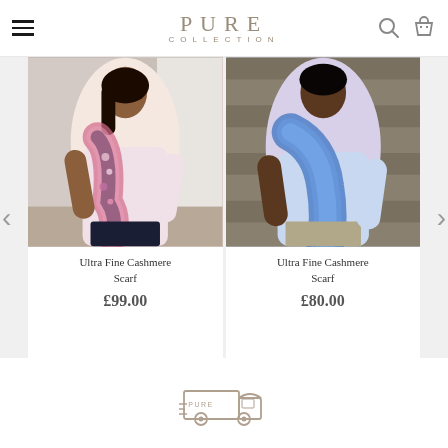PURE COLLECTION
[Figure (photo): Woman wearing a floral cashmere scarf with pink top, outdoor urban setting]
Ultra Fine Cashmere Scarf
£99.00
[Figure (photo): Woman wearing a blue cashmere scarf with light blue sweater, outdoor setting]
Ultra Fine Cashmere Scarf
£80.00
[Figure (logo): Pure Collection delivery truck logo/icon at bottom of page]